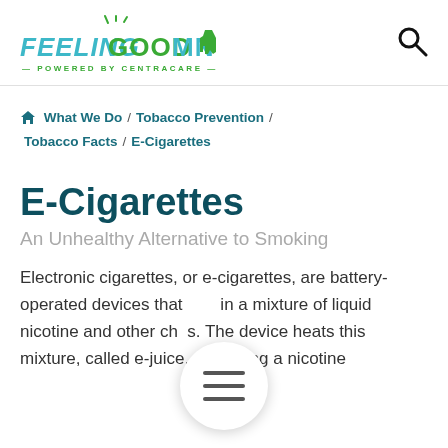[Figure (logo): Feeling Good MN logo with Minnesota state shape, powered by CentraCare text]
Feeling Good MN — Powered by CentraCare
What We Do / Tobacco Prevention / Tobacco Facts / E-Cigarettes
E-Cigarettes
An Unhealthy Alternative to Smoking
Electronic cigarettes, or e-cigarettes, are battery-operated devices that heat in a mixture of liquid nicotine and other chemicals. The device heats this mixture, called e-juice, producing a nicotine